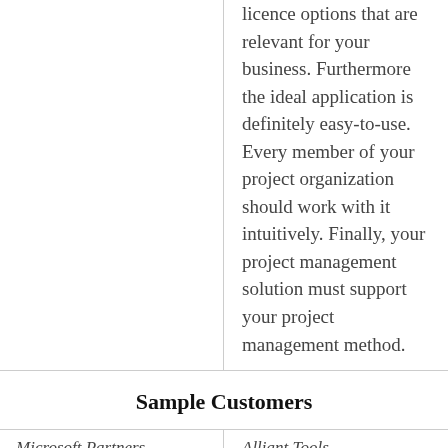licence options that are relevant for your business. Furthermore the ideal application is definitely easy-to-use. Every member of your project organization should work with it intuitively. Finally, your project management solution must support your project management method.
Sample Customers
Microsoft Partners
Alliant Tools